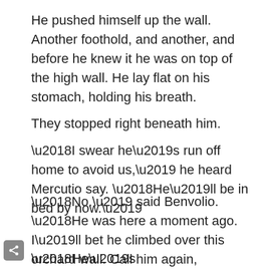He pushed himself up the wall. Another foothold, and another, and before he knew it he was on top of the high wall. He lay flat on his stomach, holding his breath.
They stopped right beneath him.
‘I swear he’s run off home to avoid us,’ he heard Mercutio say. ‘He’ll be in bed by now.’
‘No.’ said Benvolio. ‘He was here a moment ago. I’ll bet he climbed over this orchard wall. Call him again, Mercutio.’
‘He’s disappeared.’ said Mercutio. ‘Like a ghost. Hey, he’s a ghost. Let’s see if I can conjure him up.’